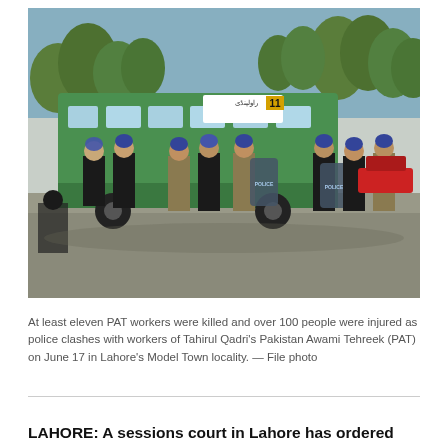[Figure (photo): Police officers in blue helmets and body armor, some carrying riot shields labeled POLICE, standing near a green bus numbered 11 on a tree-lined street. Several officers in black jackets are also visible near the bus.]
At least eleven PAT workers were killed and over 100 people were injured as police clashes with workers of Tahirul Qadri's Pakistan Awami Tehreek (PAT) on June 17 in Lahore's Model Town locality. — File photo
LAHORE: A sessions court in Lahore has ordered police to register murder charges against 21 individuals – including